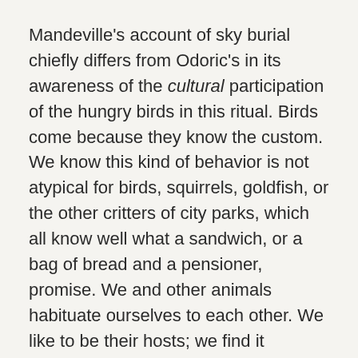Mandeville's account of sky burial chiefly differs from Odoric's in its awareness of the cultural participation of the hungry birds in this ritual. Birds come because they know the custom. We know this kind of behavior is not atypical for birds, squirrels, goldfish, or the other critters of city parks, which all know well what a sandwich, or a bag of bread and a pensioner, promise. We and other animals habituate ourselves to each other. We like to be their hosts; we find it amusing to watch them eat; we like to feel that we're helping out somehow.
Admittedly, this all may be pushing too hard at Mandeville. A Tibetan plateau is not a city park. But even the most cautious interpretation must still recognize Mandeville's careful attention to nonhuman behavior and, more importantly, to their